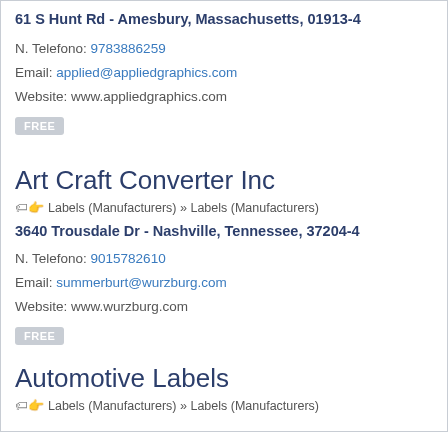61 S Hunt Rd - Amesbury, Massachusetts, 01913-4
N. Telefono: 9783886259
Email: applied@appliedgraphics.com
Website: www.appliedgraphics.com
FREE
Art Craft Converter Inc
Labels (Manufacturers) » Labels (Manufacturers)
3640 Trousdale Dr - Nashville, Tennessee, 37204-4
N. Telefono: 9015782610
Email: summerburt@wurzburg.com
Website: www.wurzburg.com
FREE
Automotive Labels
Labels (Manufacturers) » Labels (Manufacturers)